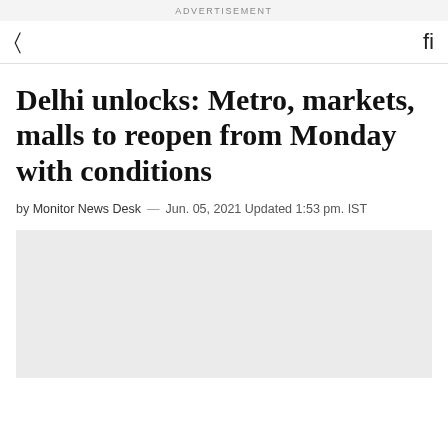ADVERTISEMENT
Delhi unlocks: Metro, markets, malls to reopen from Monday with conditions
by Monitor News Desk — Jun. 05, 2021 Updated 1:53 pm. IST
[Figure (photo): Gray placeholder image area below the article byline]